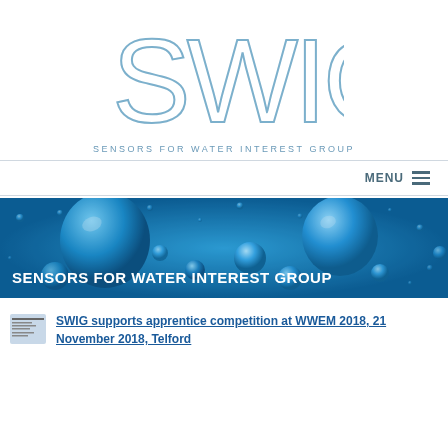[Figure (logo): SWIG logo — large outlined letters 'SWIG' in light blue, with tagline 'SENSORS FOR WATER INTEREST GROUP' below]
[Figure (photo): Banner photo of blue water droplets/bubbles on a surface with text overlay 'SENSORS FOR WATER INTEREST GROUP']
SWIG supports apprentice competition at WWEM 2018, 21 November 2018, Telford